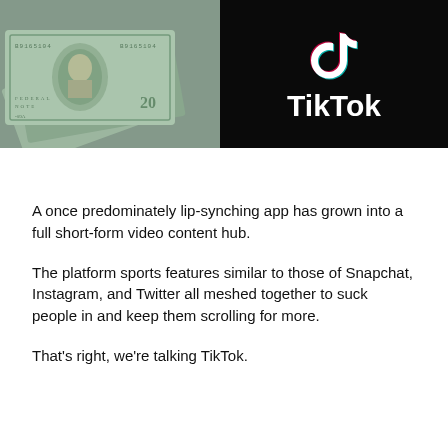[Figure (photo): Split image: left side shows US dollar bills fanned out, right side shows a smartphone displaying the TikTok logo on a black background with the word 'TikTok' in white text.]
A once predominately lip-synching app has grown into a full short-form video content hub.
The platform sports features similar to those of Snapchat, Instagram, and Twitter all meshed together to suck people in and keep them scrolling for more.
That's right, we're talking TikTok.